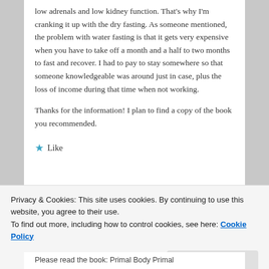low adrenals and low kidney function. That's why I'm cranking it up with the dry fasting. As someone mentioned, the problem with water fasting is that it gets very expensive when you have to take off a month and a half to two months to fast and recover. I had to pay to stay somewhere so that someone knowledgeable was around just in case, plus the loss of income during that time when not working.
Thanks for the information! I plan to find a copy of the book you recommended.
★ Like
Privacy & Cookies: This site uses cookies. By continuing to use this website, you agree to their use.
To find out more, including how to control cookies, see here: Cookie Policy
Close and accept
Please read the book: Primal Body Primal